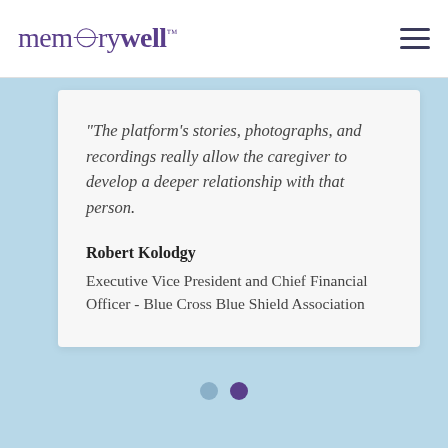memorywell™
"The platform's stories, photographs, and recordings really allow the caregiver to develop a deeper relationship with that person.
Robert Kolodgy
Executive Vice President and Chief Financial Officer - Blue Cross Blue Shield Association